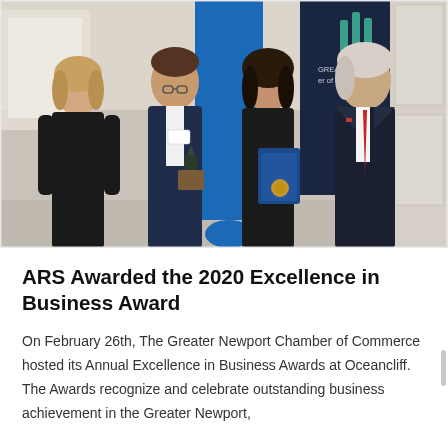[Figure (photo): Four people posing together at an awards ceremony. A woman in black on the left, a man in a navy suit holding a trophy plaque, a woman in black holding a blue certificate folder, and an older man in a dark navy suit with a red tie on the right. Behind them are a blue banner on the left and a dark navy Greater Newport Chamber of Commerce banner on the right.]
ARS Awarded the 2020 Excellence in Business Award
On February 26th, The Greater Newport Chamber of Commerce hosted its Annual Excellence in Business Awards at Oceancliff. The Awards recognize and celebrate outstanding business achievement in the Greater Newport,